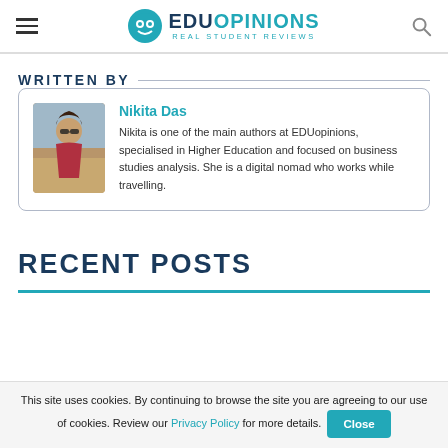EDUopinions — Real Student Reviews
WRITTEN BY
Nikita Das
Nikita is one of the main authors at EDUopinions, specialised in Higher Education and focused on business studies analysis. She is a digital nomad who works while travelling.
RECENT POSTS
This site uses cookies. By continuing to browse the site you are agreeing to our use of cookies. Review our Privacy Policy for more details.